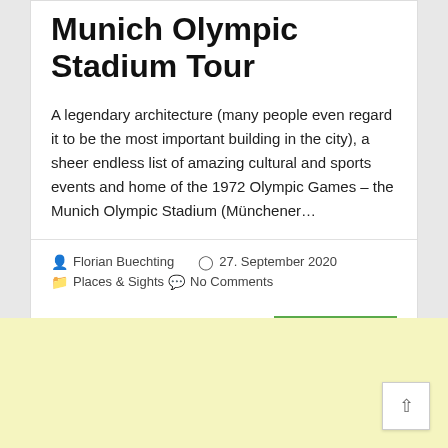Munich Olympic Stadium Tour
A legendary architecture (many people even regard it to be the most important building in the city), a sheer endless list of amazing cultural and sports events and home of the 1972 Olympic Games – the Munich Olympic Stadium (Münchener…
Florian Buechting  27. September 2020  Places & Sights  No Comments
read more